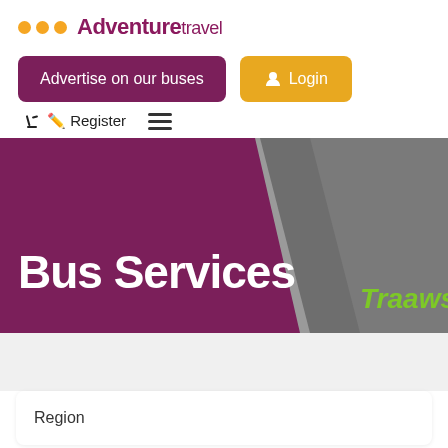[Figure (logo): Adventure travel logo with three orange dots and purple/pink text]
Advertise on our buses
Login
Register
[Figure (screenshot): Bus Services hero banner with purple background, diagonal split revealing a photo of a bus side, and 'TraawsC' branding in green]
Region